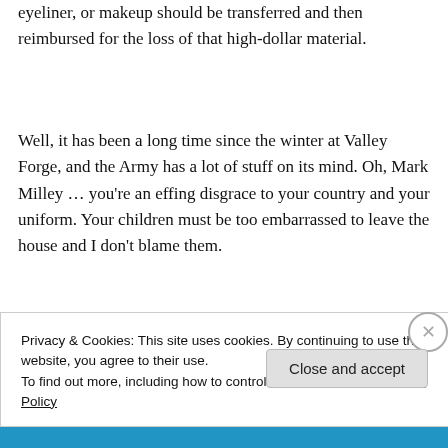eyeliner, or makeup should be transferred and then reimbursed for the loss of that high-dollar material.
Well, it has been a long time since the winter at Valley Forge, and the Army has a lot of stuff on its mind. Oh, Mark Milley … you're an effing disgrace to your country and your uniform. Your children must be too embarrassed to leave the house and I don't blame them.
★ Liked by 4 people
Privacy & Cookies: This site uses cookies. By continuing to use this website, you agree to their use.
To find out more, including how to control cookies, see here: Cookie Policy